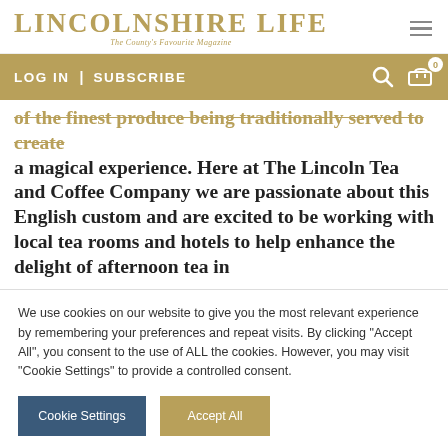LINCOLNSHIRE LIFE — The County's Favourite Magazine
LOG IN  |  SUBSCRIBE
of the finest produce being traditionally served to create a magical experience. Here at The Lincoln Tea and Coffee Company we are passionate about this English custom and are excited to be working with local tea rooms and hotels to help enhance the delight of afternoon tea in
We use cookies on our website to give you the most relevant experience by remembering your preferences and repeat visits. By clicking "Accept All", you consent to the use of ALL the cookies. However, you may visit "Cookie Settings" to provide a controlled consent.
Cookie Settings | Accept All